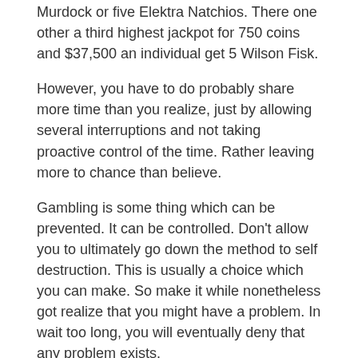Murdock or five Elektra Natchios. There one other a third highest jackpot for 750 coins and $37,500 an individual get 5 Wilson Fisk.
However, you have to do probably share more time than you realize, just by allowing several interruptions and not taking proactive control of the time. Rather leaving more to chance than believe.
Gambling is some thing which can be prevented. It can be controlled. Don’t allow you to ultimately go down the method to self destruction. This is usually a choice which you can make. So make it while nonetheless got realize that you might have a problem. In wait too long, you will eventually deny that any problem exists.
Posted in casinio